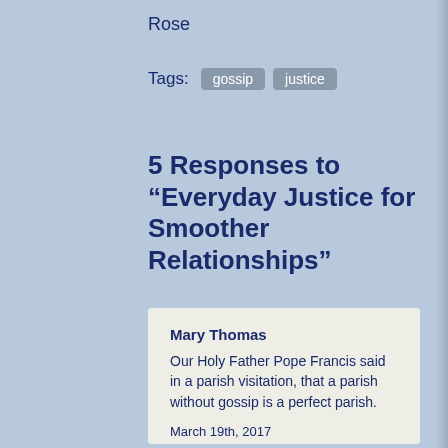Rose
Tags: gossip justice
5 Responses to “Everyday Justice for Smoother Relationships”
Mary Thomas
Our Holy Father Pope Francis said in a parish visitation, that a parish without gossip is a perfect parish.
March 19th, 2017